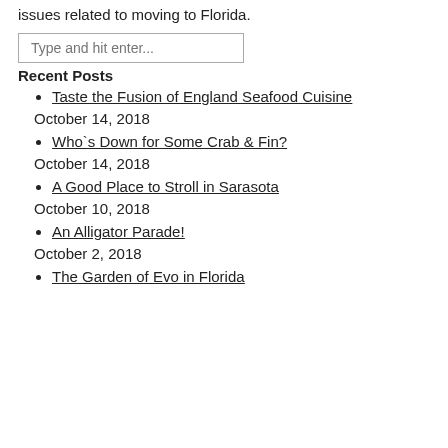issues related to moving to Florida.
Type and hit enter...
Recent Posts
Taste the Fusion of England Seafood Cuisine
October 14, 2018
Who`s Down for Some Crab & Fin?
October 14, 2018
A Good Place to Stroll in Sarasota
October 10, 2018
An Alligator Parade!
October 2, 2018
The Garden of Evo in Florida